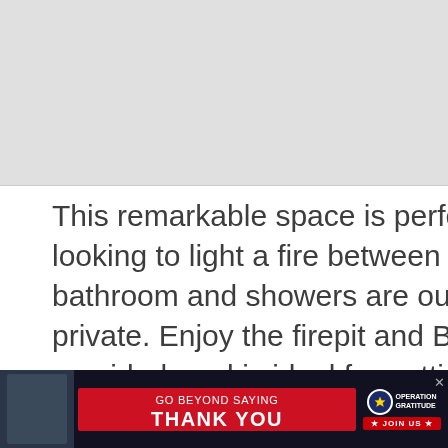[Figure (photo): Top image area, light gray placeholder representing a photo]
This remarkable space is perfect for a couple looking to light a fire between their souls. The bathroom and showers are outdoors, but still private. Enjoy the firepit and BBQ grill, with utensils provided, and is ideal for getting in touch with nature as you cook up a feast.
[Figure (infographic): Heart/save button icon (circle with heart symbol)]
[Figure (infographic): Share button icon (circle with share symbol)]
[Figure (photo): WHAT'S NEXT thumbnail with text: 12 Insanely Best Airbnb...]
[Figure (infographic): Bottom advertisement banner: GO BEYOND SAYING THANK YOU - Operation Gratitude JOIN US]